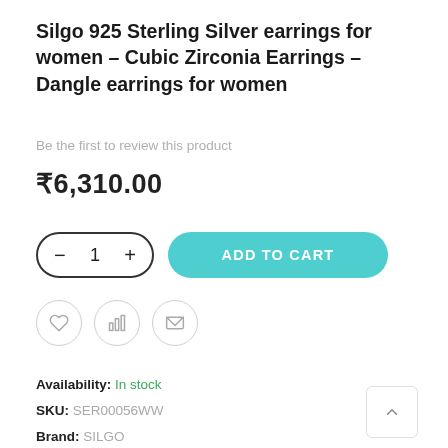Silgo 925 Sterling Silver earrings for women - Cubic Zirconia Earrings - Dangle earrings for women
Be the first to review this product
₹6,310.00
[Figure (other): Quantity selector with minus and plus buttons showing value 1, and Add to Cart button in teal]
[Figure (other): Three icon circles: heart (wishlist), bar chart (compare), envelope (email)]
Availability: In stock
SKU: SER00056WW
Brand: SILGO